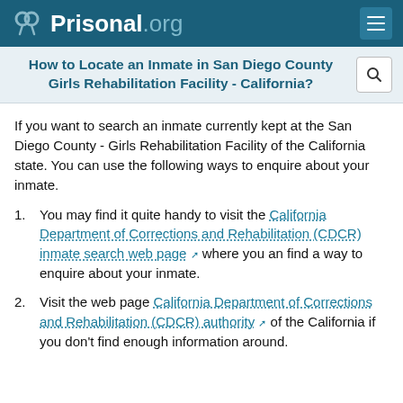Prisonal.org
How to Locate an Inmate in San Diego County Girls Rehabilitation Facility - California?
If you want to search an inmate currently kept at the San Diego County - Girls Rehabilitation Facility of the California state. You can use the following ways to enquire about your inmate.
You may find it quite handy to visit the California Department of Corrections and Rehabilitation (CDCR) inmate search web page where you an find a way to enquire about your inmate.
Visit the web page California Department of Corrections and Rehabilitation (CDCR) authority of the California if you don't find enough information around.